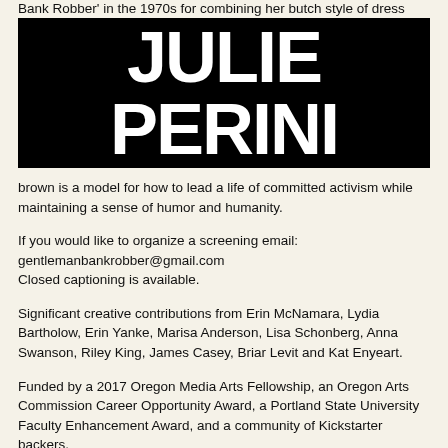Bank Robber' in the 1970s for combining her butch style of dress with a polite
[Figure (illustration): Black banner image with large bold white text reading 'JULIE PERINI']
brown is a model for how to lead a life of committed activism while maintaining a sense of humor and humanity.
If you would like to organize a screening email: gentlemanbankrobber@gmail.com
Closed captioning is available.
Significant creative contributions from Erin McNamara, Lydia Bartholow, Erin Yanke, Marisa Anderson, Lisa Schonberg, Anna Swanson, Riley King, James Casey, Briar Levit and Kat Enyeart.
Funded by a 2017 Oregon Media Arts Fellowship, an Oregon Arts Commission Career Opportunity Award, a Portland State University Faculty Enhancement Award, and a community of Kickstarter backers.